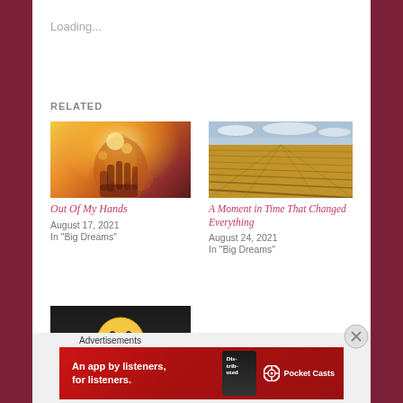Loading...
RELATED
[Figure (photo): A hand reaching toward bright golden light, silhouetted against a warm glowing background]
Out Of My Hands
August 17, 2021
In "Big Dreams"
[Figure (photo): A golden wheat field extending to the horizon under a partly cloudy sky]
A Moment in Time That Changed Everything
August 24, 2021
In "Big Dreams"
[Figure (photo): A yellow emoji face with a neutral expression on a dark background]
Advertisements
[Figure (screenshot): Pocket Casts advertisement: An app by listeners, for listeners. Shows a phone with the Distributed podcast and the Pocket Casts logo.]